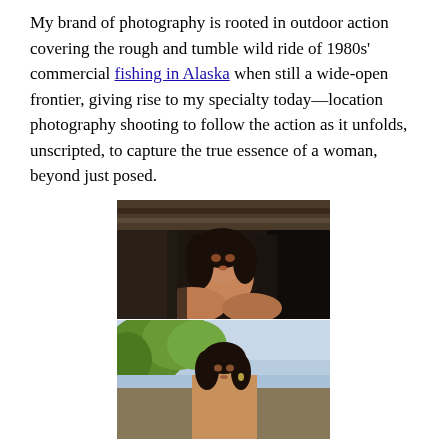My brand of photography is rooted in outdoor action covering the rough and tumble wild ride of 1980s' commercial fishing in Alaska when still a wide-open frontier, giving rise to my specialty today—location photography shooting to follow the action as it unfolds, unscripted, to capture the true essence of a woman, beyond just posed.
[Figure (photo): Portrait photo of a dark-haired woman looking over her shoulder against a dark wooden background]
[Figure (photo): Outdoor portrait of a dark-haired woman with trees and sky in the background, hand raised to her head]